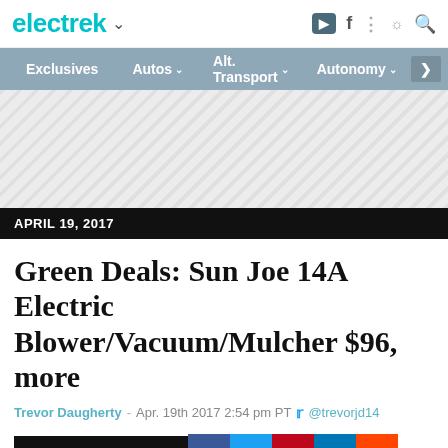electrek
Exclusives | Autos | Alt. Transport | Autonomy
[Figure (other): Advertisement/ad placeholder area with diagonal stripe pattern]
APRIL 19, 2017
Green Deals: Sun Joe 14A Electric Blower/Vacuum/Mulcher $96, more
Trevor Daugherty - Apr. 19th 2017 2:54 pm PT @trevorjd14
[Figure (other): Social sharing buttons: Add Your Comment, Facebook, Twitter, Pinterest, LinkedIn, Reddit]